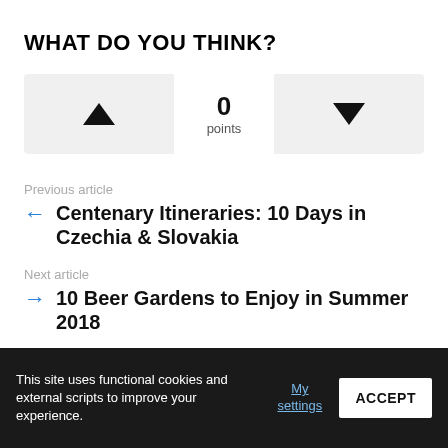WHAT DO YOU THINK?
[Figure (other): Voting widget with upvote button (triangle up), score display showing 0 points, and downvote button (triangle down)]
Previous article
← Centenary Itineraries: 10 Days in Czechia & Slovakia
Next article
→ 10 Beer Gardens to Enjoy in Summer 2018
This site uses functional cookies and external scripts to improve your experience.
My settings
ACCEPT